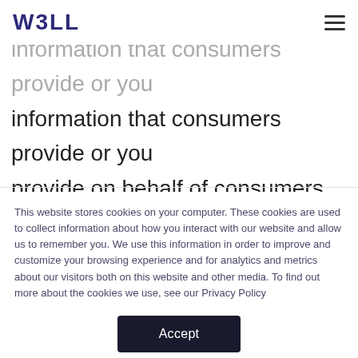W3LL
information that consumers provide or you provide on behalf of consumers on our detailed questionnaires. However, these quotes could change based on additional or contradictory information that emerges
This website stores cookies on your computer. These cookies are used to collect information about how you interact with our website and allow us to remember you. We use this information in order to improve and customize your browsing experience and for analytics and metrics about our visitors both on this website and other media. To find out more about the cookies we use, see our Privacy Policy
Accept